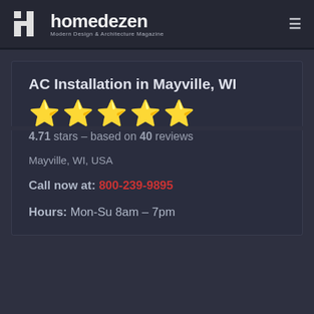homedezen – Modern Design & Architecture Magazine
AC Installation in Mayville, WI
4.71 stars – based on 40 reviews
Mayville, WI, USA
Call now at: 800-239-9895
Hours: Mon-Su 8am – 7pm